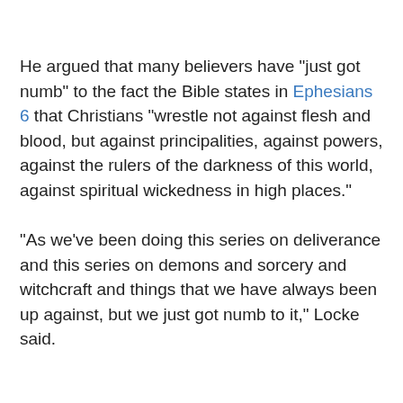He argued that many believers have "just got numb" to the fact the Bible states in Ephesians 6 that Christians "wrestle not against flesh and blood, but against principalities, against powers, against the rulers of the darkness of this world, against spiritual wickedness in high places."
"As we've been doing this series on deliverance and this series on demons and sorcery and witchcraft and things that we have always been up against, but we just got numb to it," Locke said.